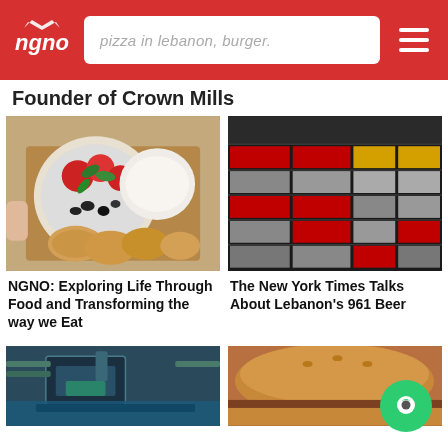ngno — pizza in lebanon, burger. [hamburger menu]
Founder of Crown Mills
[Figure (photo): Overhead photo of a plate with tomatoes, basil leaves, black olives, a bowl of labneh/yogurt, and several small round flatbreads/pitas on a wooden cutting board]
NGNO: Exploring Life Through Food and Transforming the way we Eat
[Figure (photo): Photo of shelves stocked with many cans and bottles of 961 Beer in red, silver and yellow packaging]
The New York Times Talks About Lebanon's 961 Beer
[Figure (photo): Photo of industrial machinery, possibly a water-jet cutter or mill, with blue/green metallic equipment]
[Figure (photo): Close-up photo of a burger with a bun and meat patty, partially cut off at right edge with a green chat button overlay]